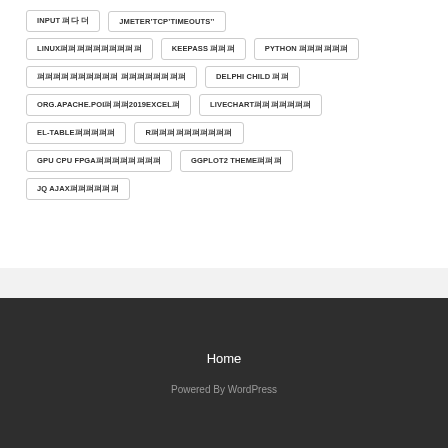INPUT 보다 더
JMETER의TCP의TIMEOUTS의의
LINUX의의의의의의의의의의의
KEEPASS 의의의
PYTHON 의의의의의의
의의의의의의의의의의 의의의의의의의의
DELPHI CHILD 의의
ORG.APACHE.POI의의의2019EXCEL의
LIVECHART의의의의의의의
EL-TABLE의의의의의
R의의의의의의의의의의
GPU CPU FPGA의의의의의의의의
GGPLOT2 THEME의의의
JQ AJAX의의의의의의
Home
Powered By WordPress